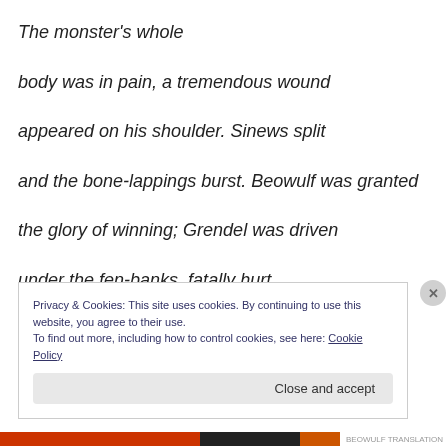The monster's whole

body was in pain, a tremendous wound

appeared on his shoulder. Sinews split

and the bone-lappings burst. Beowulf was granted

the glory of winning; Grendel was driven

under the fen-banks, fatally hurt,
Privacy & Cookies: This site uses cookies. By continuing to use this website, you agree to their use.
To find out more, including how to control cookies, see here: Cookie Policy
Close and accept